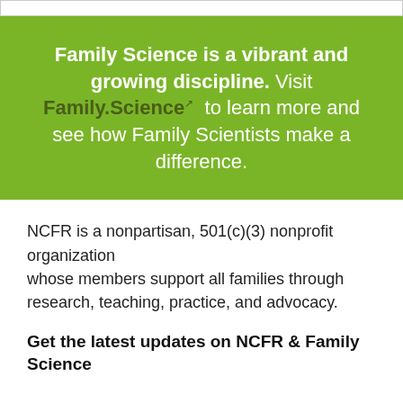Family Science is a vibrant and growing discipline. Visit Family.Science to learn more and see how Family Scientists make a difference.
NCFR is a nonpartisan, 501(c)(3) nonprofit organization whose members support all families through research, teaching, practice, and advocacy.
Get the latest updates on NCFR & Family Science